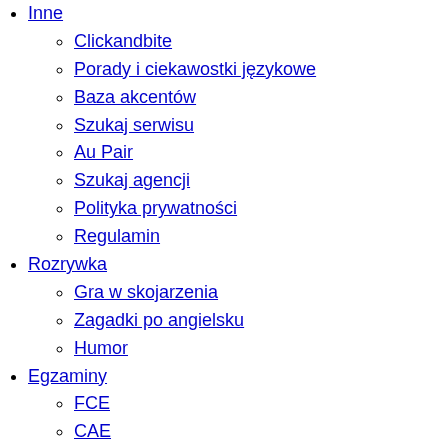Inne (partial, top)
Clickandbite
Porady i ciekawostki językowe
Baza akcentów
Szukaj serwisu
Au Pair
Szukaj agencji
Polityka prywatności
Regulamin
Rozrywka
Gra w skojarzenia
Zagadki po angielsku
Humor
Egzaminy
FCE
CAE
CPE
TOEIC
TOEFL
Pearson
LCII
Gimnazjum
Olimpiada
Matura
Specjalist... (partial, bottom)